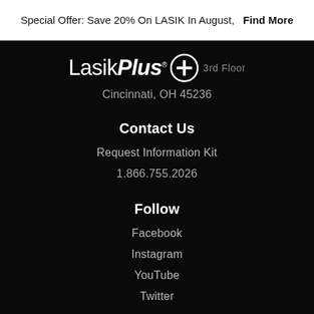Special Offer: Save 20% On LASIK In August,   Find More
[Figure (logo): LasikPlus logo with circular plus icon, white text on black background, with '3rd Floor' text in grey]
Cincinnati, OH 45236
Contact Us
Request Information Kit
1.866.755.2026
Follow
Facebook
Instagram
YouTube
Twitter